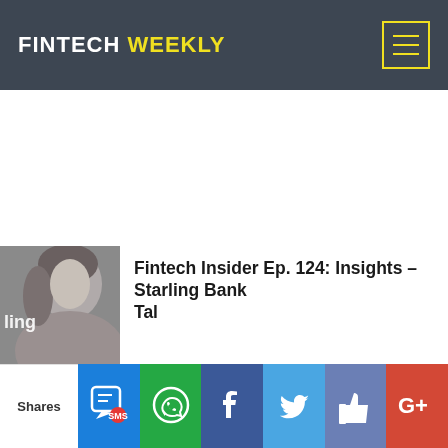FINTECH WEEKLY
[Figure (photo): Grayscale thumbnail photo of a woman, partially visible, with text 'ling' overlaid]
Fintech Insider Ep. 124: Insights – Starling Bank Tal...
Shares